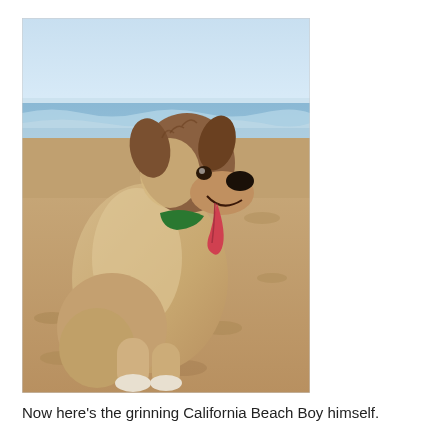[Figure (photo): A large dog (appears to be an Anatolian Shepherd or similar breed) sitting on a sandy beach with its tongue out and mouth open in a happy expression. The dog is wearing a green collar. The ocean with waves and a pale blue sky are visible in the background. The dog has a cream/tan and dark brown coat.]
Now here's the grinning California Beach Boy himself.